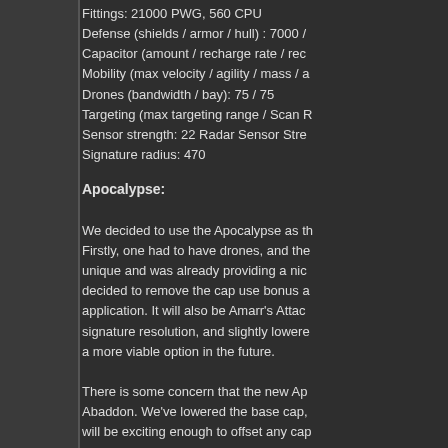Fittings: 21000 PWG, 560 CPU
Defense (shields / armor / hull) : 7000 /
Capacitor (amount / recharge rate / rec
Mobility (max velocity / agility / mass / a
Drones (bandwidth / bay): 75 / 75
Targeting (max targeting range / Scan R
Sensor strength: 22 Radar Sensor Stre
Signature radius: 470
Apocalypse:
We decided to use the Apocalypse as th Firstly, one had to have drones, and the unique and was already providing a nic decided to remove the cap use bonus a application. It will also be Amarr's Attac signature resolution, and slightly lowere a more viable option in the future.
There is some concern that the new Ap Abaddon. We've lowered the base cap, will be exciting enough to offset any cap
UPDATE: Based on feedback concerns recharge up to almost 7cap/sec. Its alsc